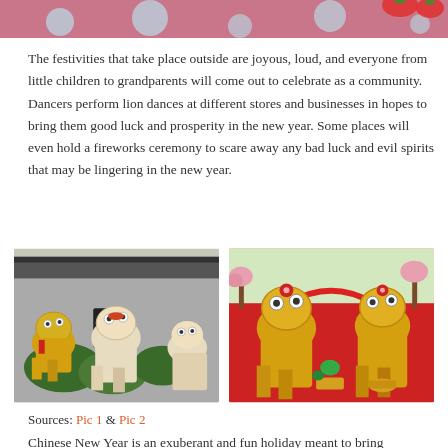[Figure (photo): Partial top image showing decorative pink/red holiday background with polka dots and strawberry decorations]
The festivities that take place outside are joyous, loud, and everyone from little children to grandparents will come out to celebrate as a community. Dancers perform lion dances at different stores and businesses in hopes to bring them good luck and prosperity in the new year. Some places will even hold a fireworks ceremony to scare away any bad luck and evil spirits that may be lingering in the new year.
[Figure (photo): Three colorful lion dance costumes (yellow, white/red) performing outside in front of a traditional Chinese building]
[Figure (photo): Two yellow lion dance costumes performing on a red stage with floral decorations in the background]
Sources: Pic 1 & Pic 2
Chinese New Year is an exuberant and fun holiday meant to bring